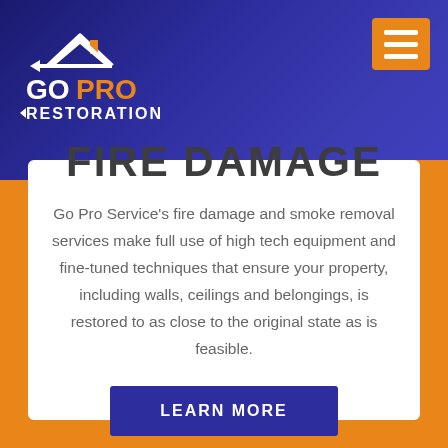[Figure (logo): Go Pro Restoration logo — house/roof icon above text 'GO PRO RESTORATION' with 'PRO' in orange]
FIRE DAMAGE
Go Pro Service's fire damage and smoke removal services make full use of high tech equipment and fine-tuned techniques that ensure your property, including walls, ceilings and belongings, is restored to as close to the original state as is feasible.
LEARN MORE